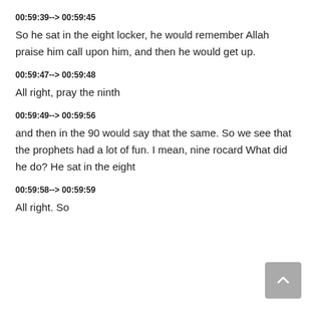00:59:39--> 00:59:45
So he sat in the eight locker, he would remember Allah praise him call upon him, and then he would get up.
00:59:47--> 00:59:48
All right, pray the ninth
00:59:49--> 00:59:56
and then in the 90 would say that the same. So we see that the prophets had a lot of fun. I mean, nine rocard What did he do? He sat in the eight
00:59:58--> 00:59:59
All right. So